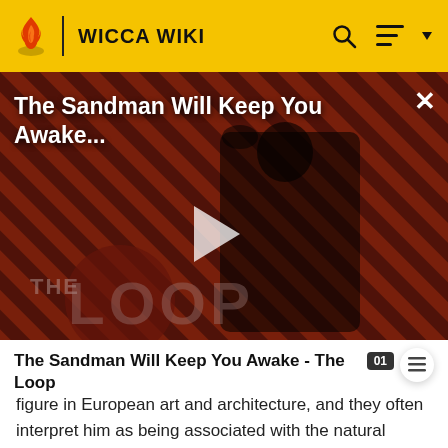WICCA WIKI
[Figure (screenshot): Video thumbnail showing a dark figure in black cloak with a raven, against a red/dark diagonal striped background. Overlaid text reads 'The Sandman Will Keep You Awake...' with a play button in the center and THE LOOP watermark at the bottom left.]
The Sandman Will Keep You Awake - The Loop
figure in European art and architecture, and they often interpret him as being associated with the natural world. The God is also often depicted as a Sun God,[16]